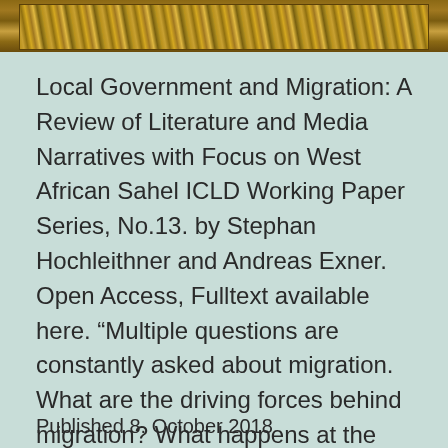[Figure (photo): Close-up photo of dry grass or straw in golden-brown tones, cropped to a horizontal strip at the top of the page.]
Local Government and Migration: A Review of Literature and Media Narratives with Focus on West African Sahel ICLD Working Paper Series, No.13. by Stephan Hochleithner and Andreas Exner. Open Access, Fulltext available here. “Multiple questions are constantly asked about migration. What are the driving forces behind migration? What happens at the intersection of climate threats,… Continue reading
Published 8. October 2018